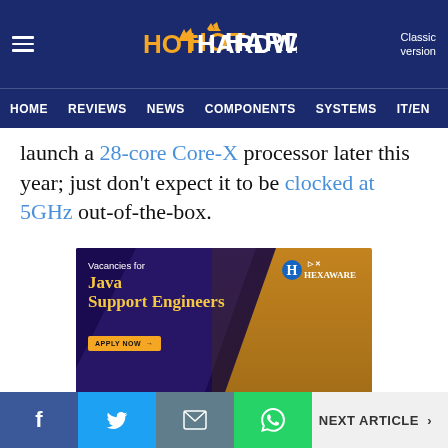HotHardware — HOME | REVIEWS | NEWS | COMPONENTS | SYSTEMS | IT/EN
launch a 28-core Core-X processor later this year; just don't expect it to be clocked at 5GHz out-of-the-box.
[Figure (photo): Hexaware Technologies advertisement banner showing Java Support Engineers vacancy with group of professionals photo]
NEXT ARTICLE >